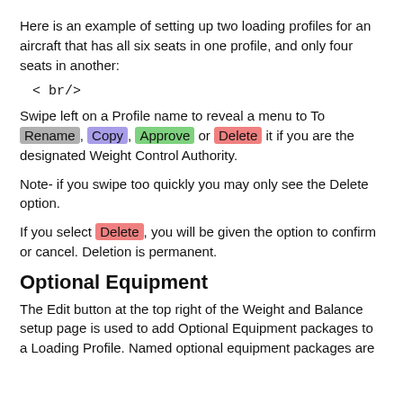Here is an example of setting up two loading profiles for an aircraft that has all six seats in one profile, and only four seats in another:
< br/>
Swipe left on a Profile name to reveal a menu to To Rename, Copy, Approve or Delete it if you are the designated Weight Control Authority.
Note- if you swipe too quickly you may only see the Delete option.
If you select Delete, you will be given the option to confirm or cancel. Deletion is permanent.
Optional Equipment
The Edit button at the top right of the Weight and Balance setup page is used to add Optional Equipment packages to a Loading Profile. Named optional equipment packages are